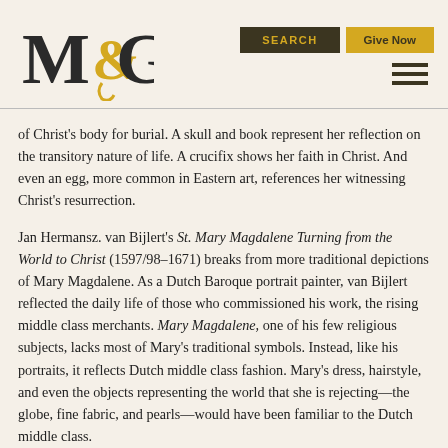M&G logo with SEARCH and Give Now buttons
of Christ's body for burial. A skull and book represent her reflection on the transitory nature of life. A crucifix shows her faith in Christ. And even an egg, more common in Eastern art, references her witnessing Christ's resurrection.
Jan Hermansz. van Bijlert's St. Mary Magdalene Turning from the World to Christ (1597/98–1671) breaks from more traditional depictions of Mary Magdalene. As a Dutch Baroque portrait painter, van Bijlert reflected the daily life of those who commissioned his work, the rising middle class merchants. Mary Magdalene, one of his few religious subjects, lacks most of Mary's traditional symbols. Instead, like his portraits, it reflects Dutch middle class fashion. Mary's dress, hairstyle, and even the objects representing the world that she is rejecting—the globe, fine fabric, and pearls—would have been familiar to the Dutch middle class.
Though the artist's style is Dutch, his message is universal: no one can follow both Christ and the world. The treasures of the world are on one side of the painting, and the crucified Christ on the